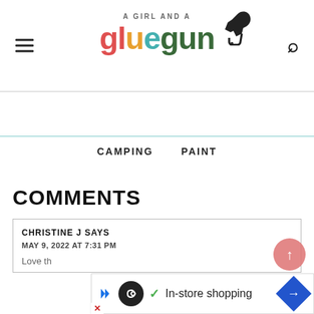A GIRL AND A gluegun — site header with logo
CAMPING    PAINT
COMMENTS
CHRISTINE J SAYS
MAY 9, 2022 AT 7:31 PM
Love th…
[Figure (other): Ad banner: play button, infinity logo circle, checkmark, 'In-store shopping' text, blue navigation diamond icon]